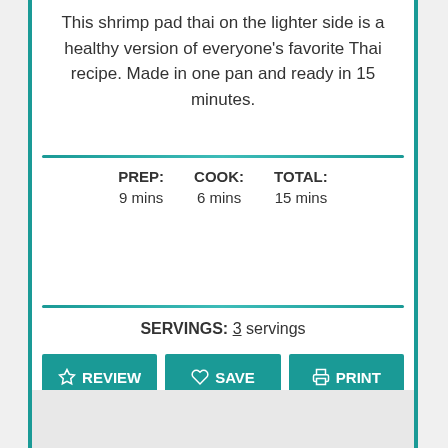This shrimp pad thai on the lighter side is a healthy version of everyone's favorite Thai recipe. Made in one pan and ready in 15 minutes.
| PREP: | COOK: | TOTAL: |
| --- | --- | --- |
| 9 mins | 6 mins | 15 mins |
SERVINGS: 3 servings